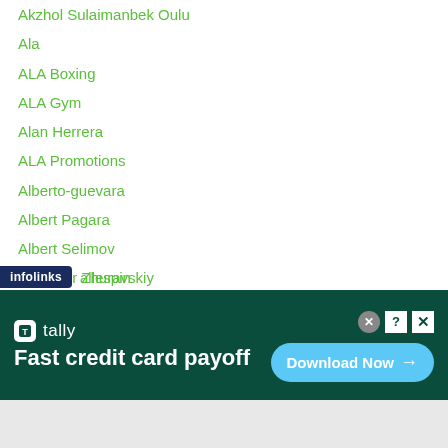Akzhol Sulaimanbek Oulu
Ala
ALA Boxing
ALA Gym
Alan Herrera
ALA Promotions
Alberto-guevara
Albert Pagara
Albert Selimov
Alexandr Zhuravskiy
Ali Akhmedov
Ali Baloyev
Alie Laurel
Alimzhan Tusunov
Ali Raymi
Allan Tanada
allespin
[Figure (screenshot): Tally app advertisement banner: 'Fast credit card payoff' with Download Now button]